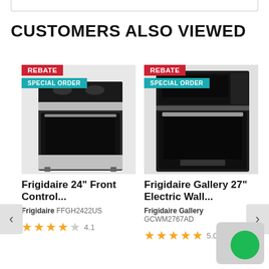CUSTOMERS ALSO VIEWED
[Figure (photo): Frigidaire 24" front control gas range in stainless steel/black, with REBATE and SPECIAL ORDER badges]
Frigidaire 24" Front Control...
Frigidaire FFGH2422US
4.1 stars
[Figure (photo): Frigidaire Gallery 27" electric wall oven combo in black stainless, with REBATE and SPECIAL ORDER badges]
Frigidaire Gallery 27" Electric Wall...
Frigidaire Gallery GCWM2767AD
5.0 stars